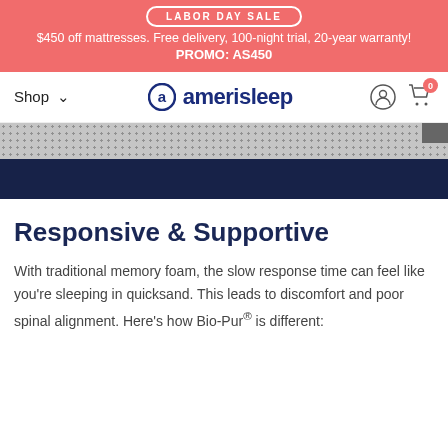LABOR DAY SALE — $450 off mattresses. Free delivery, 100-night trial, 20-year warranty! PROMO: AS450
[Figure (logo): Amerisleep logo with navigation: Shop menu, amerisleep wordmark with 'a' icon, user icon, cart icon with badge showing 0]
[Figure (photo): Cross-section of a mattress showing a grey dotted fabric top layer and a dark navy foam body layer]
Responsive & Supportive
With traditional memory foam, the slow response time can feel like you're sleeping in quicksand. This leads to discomfort and poor spinal alignment. Here's how Bio-Pur® is different: